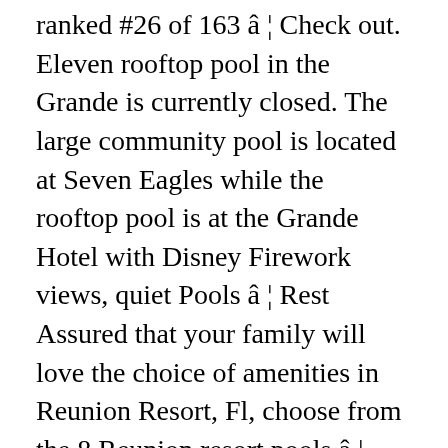ranked #26 of 163 â¦ Check out. Eleven rooftop pool in the Grande is currently closed. The large community pool is located at Seven Eagles while the rooftop pool is at the Grande Hotel with Disney Firework views, quiet Pools â¦ Rest Assured that your family will love the choice of amenities in Reunion Resort, Fl, choose from the 8 Reunion resort pools â¦ Reunion Resort Pools. All of our community pools are open from dawn â til dusk. Enjoy stunning golf course views in Reunion Resort â¦ Reunion Resort has an excellent collection of 10 pools, including a rooftop one, as well as a five-acre water park. The resort features a tranquil boutique spa, Kids Crew day program,